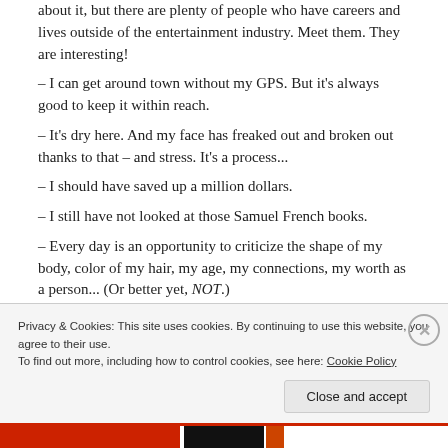about it, but there are plenty of people who have careers and lives outside of the entertainment industry. Meet them. They are interesting!
– I can get around town without my GPS. But it's always good to keep it within reach.
– It's dry here. And my face has freaked out and broken out thanks to that – and stress. It's a process...
– I should have saved up a million dollars.
– I still have not looked at those Samuel French books.
– Every day is an opportunity to criticize the shape of my body, color of my hair, my age, my connections, my worth as a person... (Or better yet, NOT.)
Privacy & Cookies: This site uses cookies. By continuing to use this website, you agree to their use.
To find out more, including how to control cookies, see here: Cookie Policy
Close and accept